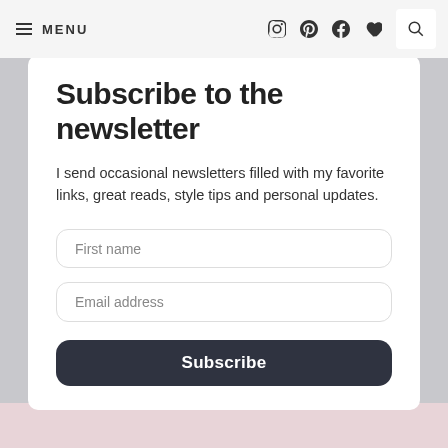MENU
Subscribe to the newsletter
I send occasional newsletters filled with my favorite links, great reads, style tips and personal updates.
First name
Email address
Subscribe